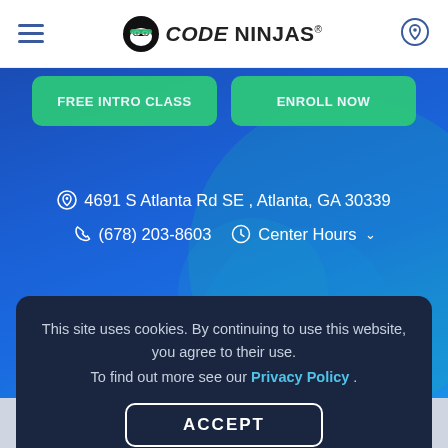Code Ninjas - navigation bar with hamburger menu and location icon
[Figure (screenshot): Two green call-to-action buttons partially visible at top of blue hero section]
4691 S Atlanta Rd SE , Atlanta, GA 30339
(678) 203-8603   Center Hours
This site uses cookies. By continuing to use this website, you agree to their use. To find out more see our Privacy Policy .
ACCEPT